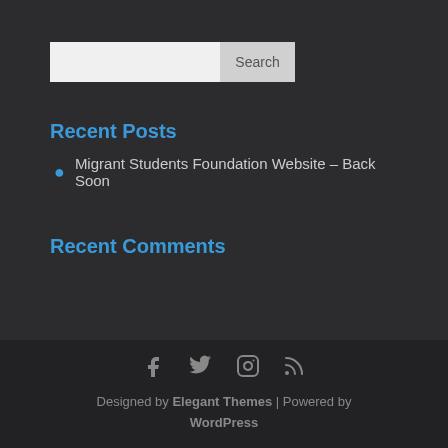[Figure (other): Search input box with a Search button]
Recent Posts
Migrant Students Foundation Website – Back Soon
Recent Comments
Designed by Elegant Themes | Powered by WordPress